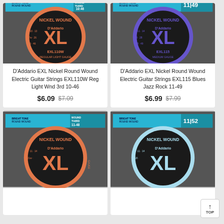[Figure (photo): D'Addario EXL110W Nickel Wound electric guitar string package with orange/salmon colored ring, EXL110W label, Regular Light Gauge, 10-46]
D'Addario EXL Nickel Round Wound Electric Guitar Strings EXL110W Reg Light Wnd 3rd 10-46
$6.09 $7.09
[Figure (photo): D'Addario EXL115 Nickel Wound electric guitar string package with blue/purple colored ring, EXL115 label, Medium Gauge, 11-49]
D'Addario EXL Nickel Round Wound Electric Guitar Strings EXL115 Blues Jazz Rock 11-49
$6.99 $7.99
[Figure (photo): D'Addario Nickel Wound electric guitar string package with orange ring, 11-48 Wound Third]
[Figure (photo): D'Addario Nickel Wound electric guitar string package with light blue ring, 11-52 Heavy BTM]